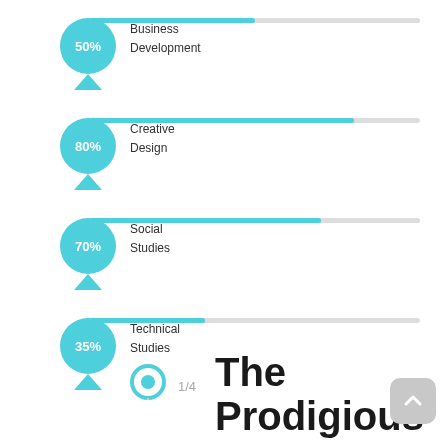[Figure (infographic): Horizontal progress bar with pin marker showing Business Development at 50%]
1/4
The Prodigious